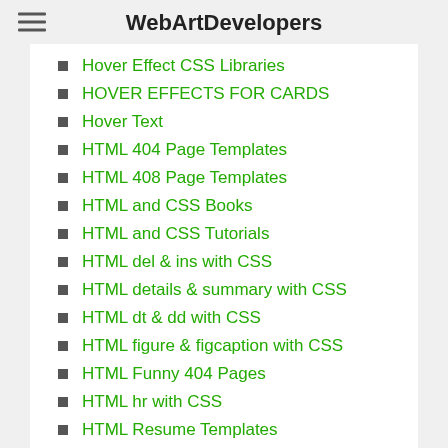WebArtDevelopers
Hover Effect CSS Libraries
HOVER EFFECTS FOR CARDS
Hover Text
HTML 404 Page Templates
HTML 408 Page Templates
HTML and CSS Books
HTML and CSS Tutorials
HTML del & ins with CSS
HTML details & summary with CSS
HTML dt & dd with CSS
HTML figure & figcaption with CSS
HTML Funny 404 Pages
HTML hr with CSS
HTML Resume Templates